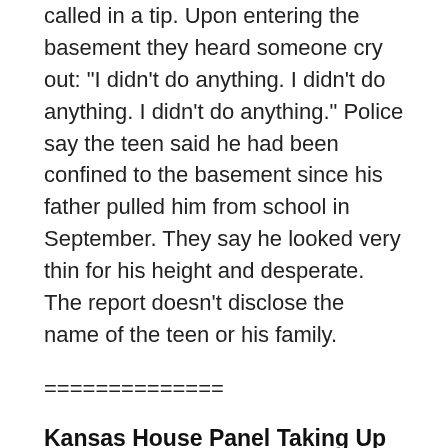called in a tip. Upon entering the basement they heard someone cry out: "I didn't do anything. I didn't do anything. I didn't do anything." Police say the teen said he had been confined to the basement since his father pulled him from school in September. They say he looked very thin for his height and desperate. The report doesn't disclose the name of the teen or his family.
==============
Kansas House Panel Taking Up Governor's Tax Proposals
TOPEKA, Kan. (AP) — With the Kansas Senate's work on tax legislation stalled, the House Taxation Committee is taking up Governor Sam Brownback's plan to revise